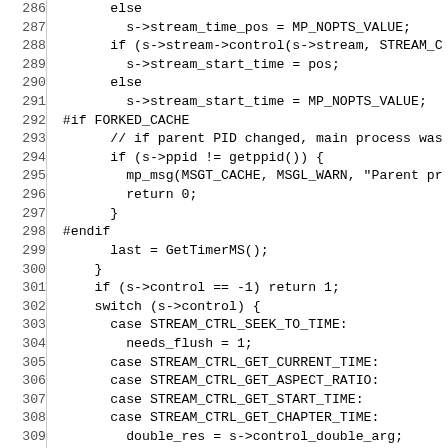[Figure (other): Source code listing lines 286-315 in monospace font with line numbers in left column separated by vertical rule]